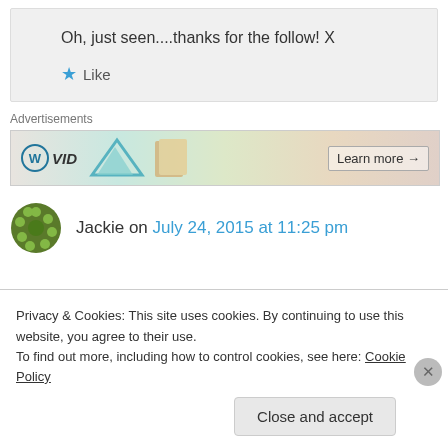Oh, just seen....thanks for the follow! X
Like
Advertisements
[Figure (screenshot): WordPress advertisement banner with WordPress logo, 'VID' text, book images, and 'Learn more →' button]
Jackie on July 24, 2015 at 11:25 pm
Privacy & Cookies: This site uses cookies. By continuing to use this website, you agree to their use.
To find out more, including how to control cookies, see here: Cookie Policy
Close and accept